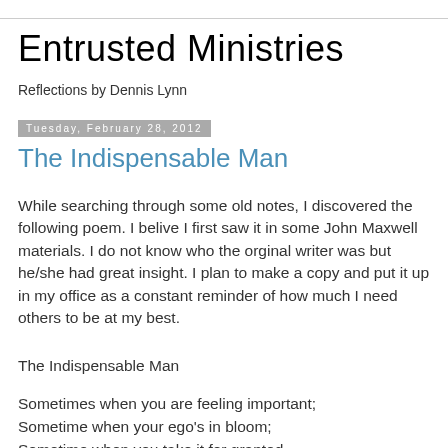Entrusted Ministries
Reflections by Dennis Lynn
Tuesday, February 28, 2012
The Indispensable Man
While searching through some old notes, I discovered the following poem. I belive I first saw it in some John Maxwell materials. I do not know who the orginal writer was but he/she had great insight. I plan to make a copy and put it up in my office as a constant reminder of how much I need others to be at my best.
The Indispensable Man
Sometimes when you are feeling important;
Sometime when your ego's in bloom;
Sometime when you take it for granted,